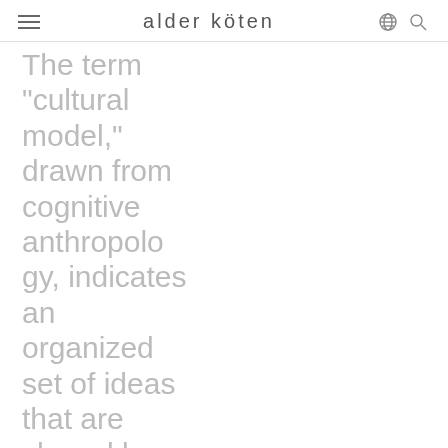alder köten
The term “cultural model,” drawn from cognitive anthropology, indicates an organized set of ideas that are shared by members of a cultural group
There are two components in this